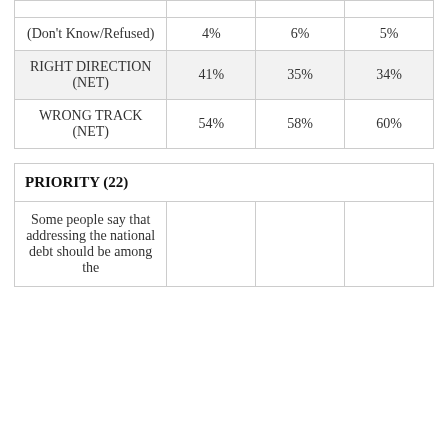|  |  |  |  |
| --- | --- | --- | --- |
| (Don't Know/Refused) | 4% | 6% | 5% |
| RIGHT DIRECTION (NET) | 41% | 35% | 34% |
| WRONG TRACK (NET) | 54% | 58% | 60% |
| PRIORITY (22) |  |  |  |
| --- | --- | --- | --- |
| Some people say that addressing the national debt should be among the |  |  |  |